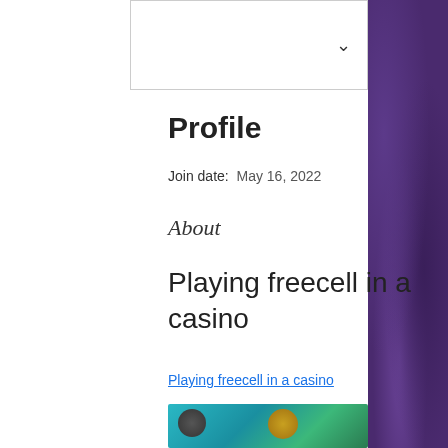Profile
Join date: May 16, 2022
About
Playing freecell in a casino
Playing freecell in a casino
[Figure (photo): Blurred image showing a casino scene with teal/green background and figures]